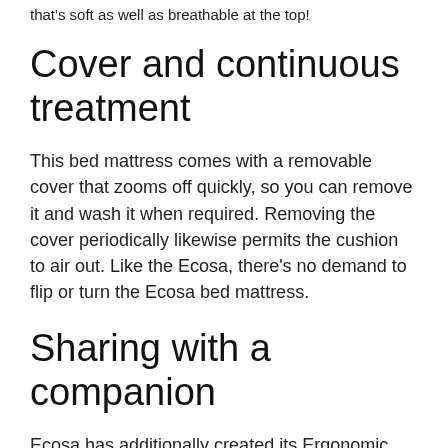that's soft as well as breathable at the top!
Cover and continuous treatment
This bed mattress comes with a removable cover that zooms off quickly, so you can remove it and wash it when required. Removing the cover periodically likewise permits the cushion to air out. Like the Ecosa, there's no demand to flip or turn the Ecosa bed mattress.
Sharing with a companion
Ecosa has additionally created its Ergonomic Support Foam base layer so there's no companion disruption. While it didn't go